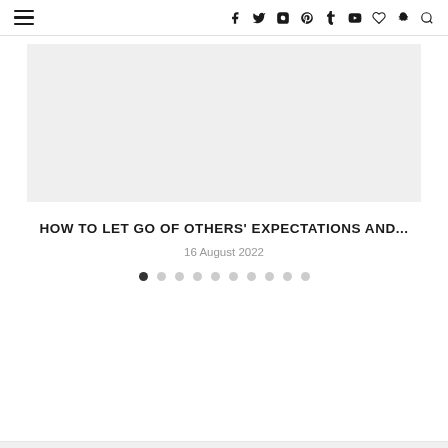≡ | f t instagram pinterest t youtube ♡ snapchat search
[Figure (photo): Light gray placeholder rectangle representing a featured article image]
HOW TO LET GO OF OTHERS' EXPECTATIONS AND...
16 August 2022
[Figure (infographic): Slider pagination dots, 10 total, first dot filled/active, rest are empty circles]